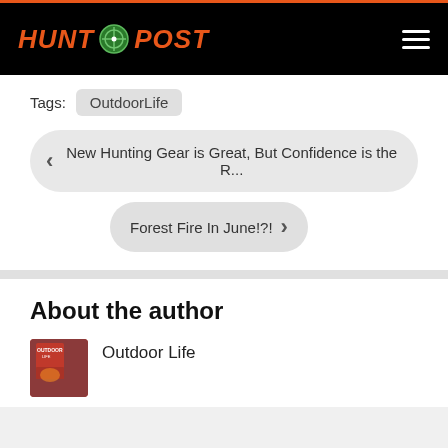[Figure (logo): Hunt Post logo with orange crosshair icon between HUNT and POST text on black header background]
Tags: OutdoorLife
< New Hunting Gear is Great, But Confidence is the R...
Forest Fire In June!?! >
About the author
Outdoor Life